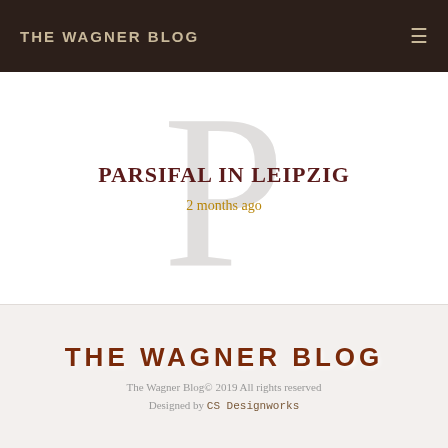THE WAGNER BLOG
PARSIFAL IN LEIPZIG
2 months ago
THE WAGNER BLOG
The Wagner Blog© 2019 All rights reserved
Designed by CS Designworks